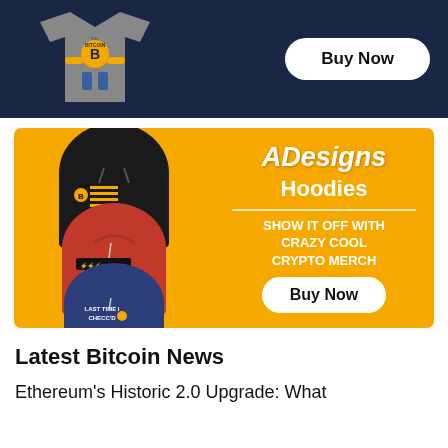[Figure (illustration): Top dark navy blue banner with a t-shirt graphic on the left featuring a Bitcoin character and a 'Buy Now' button on the right.]
[Figure (infographic): ADesigns advertisement with orange background showing three hoodies (black with Bitcoin flag, red with Bitcoin text, blue with 'Last Time I Checc'd'), brand name 'ADesigns', text 'Hoodies', 'SHOW IT OFF WITH CRAZY COOL CRYPTO MERCH', and a 'Buy Now' button.]
Latest Bitcoin News
Ethereum's Historic 2.0 Upgrade: What